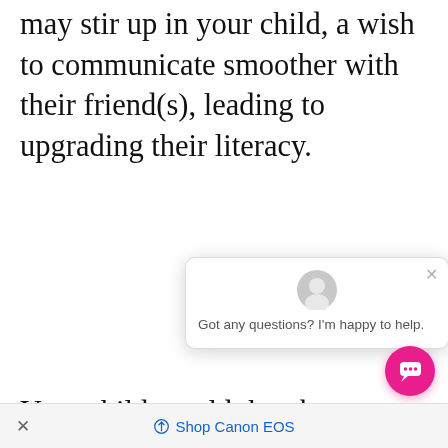may stir up in your child, a wish to communicate smoother with their friend(s), leading to upgrading their literacy.
Your child would then be prompted to plan and carry out an investigation to test a hy[pothesis – a crucial asp[ect of scientific i[nquiry].
Afterwards, the child will
[Figure (screenshot): Chat widget popup with avatar icon, close (×) button, and message 'Got any questions? I'm happy to help.']
× Shop Canon EOS